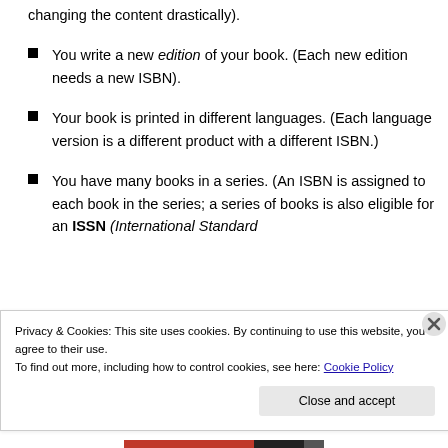customers as to whether or not it is the same book (while changing the content drastically).
You write a new edition of your book. (Each new edition needs a new ISBN).
Your book is printed in different languages. (Each language version is a different product with a different ISBN.)
You have many books in a series. (An ISBN is assigned to each book in the series; a series of books is also eligible for an ISSN (International Standard
Privacy & Cookies: This site uses cookies. By continuing to use this website, you agree to their use.
To find out more, including how to control cookies, see here: Cookie Policy
Close and accept